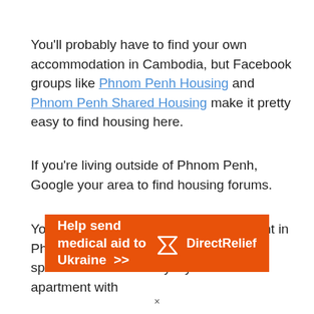You'll probably have to find your own accommodation in Cambodia, but Facebook groups like Phnom Penh Housing and Phnom Penh Shared Housing make it pretty easy to find housing here.
If you're living outside of Phnom Penh, Google your area to find housing forums.
You can find a nice 1-bedroom apartment in Phnom Penh for around $300, and you'll spend even less money if you share an apartment with
[Figure (infographic): Orange advertisement banner reading 'Help send medical aid to Ukraine >>' with Direct Relief logo on the right side.]